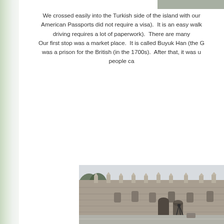[Figure (photo): Partial photo visible at top right corner of page]
We crossed easily into the Turkish side of the island with our American Passports did not require a visa). It is an easy walk driving requires a lot of paperwork). There are many Our first stop was a market place. It is called Buyuk Han (the G was a prison for the British (in the 1700s). After that, it was u people ca
[Figure (photo): Photograph of a large historic stone building (Buyuk Han) with decorative turrets along the roofline, arched entrances, and a wet street in front]